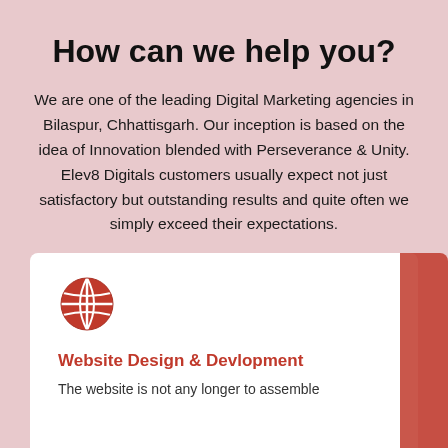How can we help you?
We are one of the leading Digital Marketing agencies in Bilaspur, Chhattisgarh. Our inception is based on the idea of Innovation blended with Perseverance & Unity. Elev8 Digitals customers usually expect not just satisfactory but outstanding results and quite often we simply exceed their expectations.
[Figure (illustration): Red globe/world icon]
Website Design & Devlopment
The website is not any longer to assemble